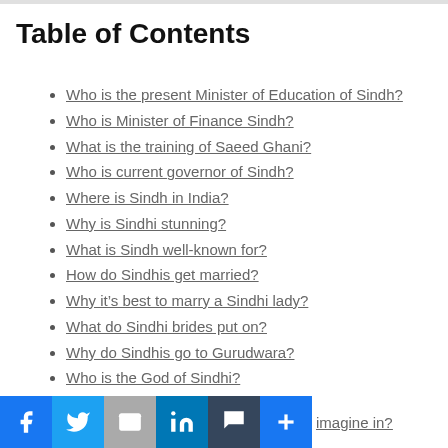Table of Contents
Who is the present Minister of Education of Sindh?
Who is Minister of Finance Sindh?
What is the training of Saeed Ghani?
Who is current governor of Sindh?
Where is Sindh in India?
Why is Sindhi stunning?
What is Sindh well-known for?
How do Sindhis get married?
Why it’s best to marry a Sindhi lady?
What do Sindhi brides put on?
Why do Sindhis go to Gurudwara?
Who is the God of Sindhi?
Are Sindhis Kanjoos?
What can Sindhis imagine in?
Is Sindhis a maryadi?